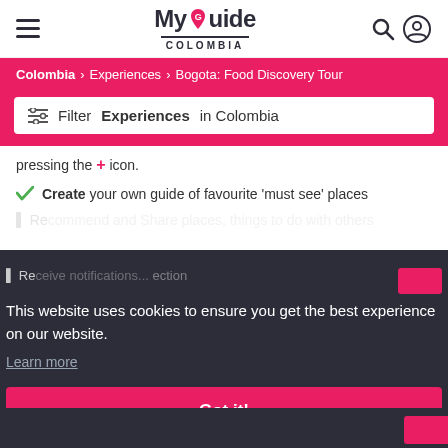MyGuide COLOMBIA
Colombia > Experiences > Bogota: Food Discovery Tour
Filter Experiences in Colombia
pressing the + icon.
Create your own guide of favourite 'must see' places
This website uses cookies to ensure you get the best experience on our website.
Learn more
Got it!